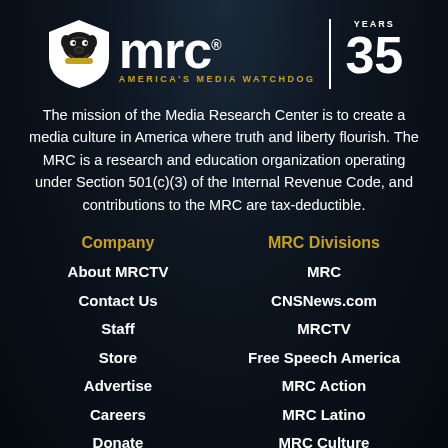[Figure (logo): MRC logo with bulldog shield, 'mrc' text, 'AMERICA'S MEDIA WATCHDOG' tagline, vertical divider, and '35 YEARS' badge]
The mission of the Media Research Center is to create a media culture in America where truth and liberty flourish. The MRC is a research and education organization operating under Section 501(c)(3) of the Internal Revenue Code, and contributions to the MRC are tax-deductible.
Company
About MRCTV
Contact Us
Staff
Store
Advertise
Careers
Donate
MRC Divisions
MRC
CNSNews.com
MRCTV
Free Speech America
MRC Action
MRC Latino
MRC Culture